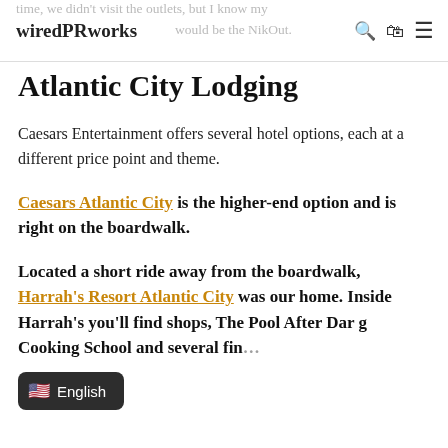time, we didn't visit the outlets, but I know my wiredPRworks would be the NikOut.
Atlantic City Lodging
Caesars Entertainment offers several hotel options, each at a different price point and theme.
Caesars Atlantic City is the higher-end option and is right on the boardwalk.
Located a short ride away from the boardwalk, Harrah's Resort Atlantic City was our home. Inside Harrah's you'll find shops, The Pool After Dark, Cooking School and several fin...